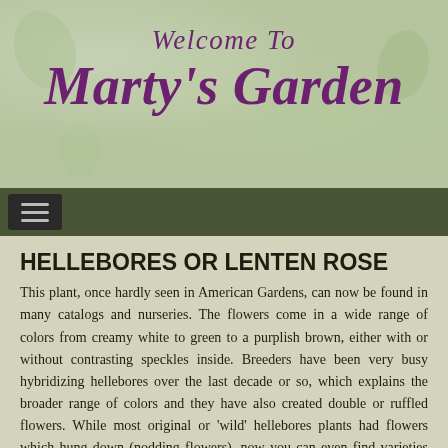[Figure (illustration): Website header banner with light green mottled background reading 'Welcome To Marty's Garden' in purple italic cursive/serif font]
HELLEBORES OR LENTEN ROSE
This plant, once hardly seen in American Gardens, can now be found in many catalogs and nurseries. The flowers come in a wide range of colors from creamy white to green to a purplish brown, either with or without contrasting speckles inside. Breeders have been very busy hybridizing hellebores over the last decade or so, which explains the broader range of colors and they have also created double or ruffled flowers. While most original or 'wild' hellebores plants had flowers which hung down (nodding flowers), now you can even find varieties with their flower turned up.
[Figure (photo): Photo of hellebore plants growing in a garden with a white fence in the background, showing green foliage and pink/purple flowers]